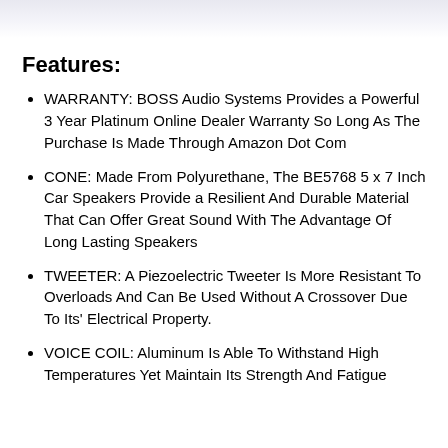[Figure (photo): Partial product image visible at top of page]
Features:
WARRANTY: BOSS Audio Systems Provides a Powerful 3 Year Platinum Online Dealer Warranty So Long As The Purchase Is Made Through Amazon Dot Com
CONE: Made From Polyurethane, The BE5768 5 x 7 Inch Car Speakers Provide a Resilient And Durable Material That Can Offer Great Sound With The Advantage Of Long Lasting Speakers
TWEETER: A Piezoelectric Tweeter Is More Resistant To Overloads And Can Be Used Without A Crossover Due To Its' Electrical Property.
VOICE COIL: Aluminum Is Able To Withstand High Temperatures Yet Maintain Its Strength And Fatigue